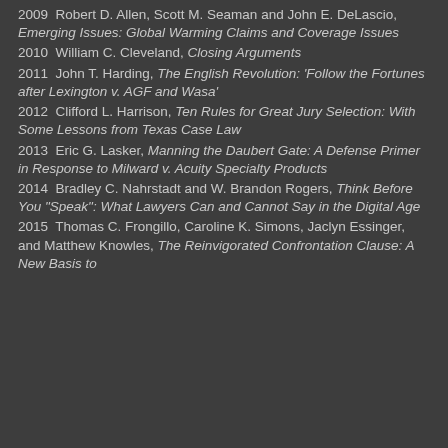2009  Robert D. Allen, Scott M. Seaman and John E. DeLascio, Emerging Issues: Global Warming Claims and Coverage Issues
2010  William C. Cleveland, Closing Arguments
2011  John T. Harding, The English Revolution: 'Follow the Fortunes after Lexington v. AGF and Wasa'
2012  Clifford L. Harrison, Ten Rules for Great Jury Selection: With Some Lessons from Texas Case Law
2013  Eric G. Lasker, Manning the Daubert Gate: A Defense Primer in Response to Milward v. Acuity Specialty Products
2014  Bradley C. Nahrstadt and W. Brandon Rogers, Think Before You "Speak": What Lawyers Can and Cannot Say in the Digital Age
2015  Thomas C. Frongillo, Caroline K. Simons, Jaclyn Essinger, and Matthew Knowles, The Reinvigorated Confrontation Clause: A New Basis to